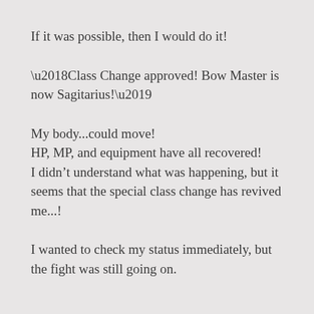If it was possible, then I would do it!
‘Class Change approved! Bow Master is now Sagitarius!’
My body...could move!
HP, MP, and equipment have all recovered!
I didn’t understand what was happening, but it seems that the special class change has revived me...!
I wanted to check my status immediately, but the fight was still going on.